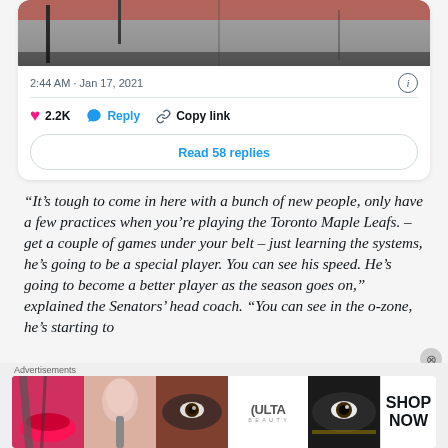[Figure (screenshot): Partial tweet card showing a photo of a building structure at top, timestamp 2:44 AM · Jan 17, 2021, an info icon, a divider, like count 2.2K, Reply button, Copy link button, and Read 58 replies button]
“It’s tough to come in here with a bunch of new people, only have a few practices when you’re playing the Toronto Maple Leafs. – get a couple of games under your belt – just learning the systems, he’s going to be a special player. You can see his speed. He’s going to become a better player as the season goes on,” explained the Senators’ head coach. “You can see in the o-zone, he’s starting to
[Figure (screenshot): Advertisements banner with ULTA beauty ad showing makeup imagery and SHOP NOW text]